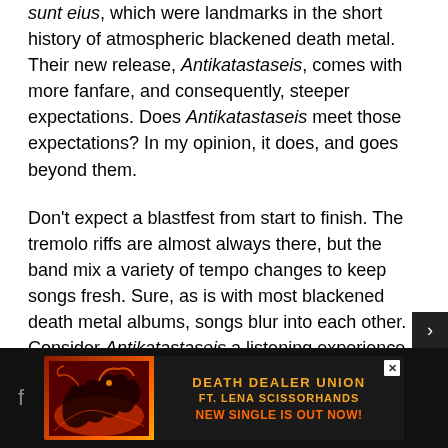sunt eius, which were landmarks in the short history of atmospheric blackened death metal. Their new release, Antikatastaseis, comes with more fanfare, and consequently, steeper expectations. Does Antikatastaseis meet those expectations? In my opinion, it does, and goes beyond them.
Don't expect a blastfest from start to finish. The tremolo riffs are almost always there, but the band mix a variety of tempo changes to keep songs fresh. Sure, as is with most blackened death metal albums, songs blur into each other. Consider Antikatastaseis a listening experience and not a set of tracks. No highlights here. Antikatastaseis doesn't have hits. It's a soundtrack to skies falling, heaven spiraling into darkness.
[Figure (infographic): Advertisement banner for 'Death Dealer Union ft. Lena Scissorhands - New Single Is Out Now!' with orange text on dark background and dragon/fantasy artwork on the left.]